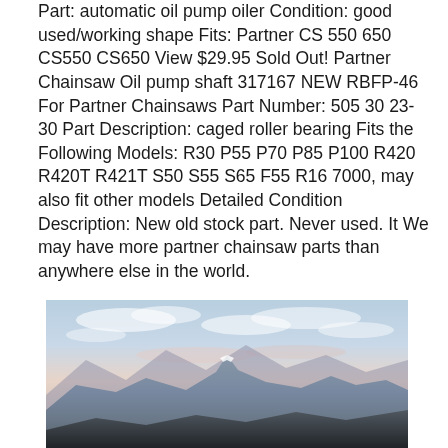Part: automatic oil pump oiler Condition: good used/working shape Fits: Partner CS 550 650 CS550 CS650 View $29.95 Sold Out! Partner Chainsaw Oil pump shaft 317167 NEW RBFP-46 For Partner Chainsaws Part Number: 505 30 23-30 Part Description: caged roller bearing Fits the Following Models: R30 P55 P70 P85 P100 R420 R420T R421T S50 S55 S65 F55 R16 7000, may also fit other models Detailed Condition Description: New old stock part. Never used. It We may have more partner chainsaw parts than anywhere else in the world.
[Figure (photo): Landscape photograph of a mountain peak with a dramatic sky featuring clouds, taken at dusk or dawn with warm pinkish tones on the horizon.]